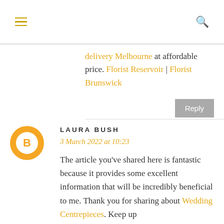≡  🔍
delivery Melbourne at affordable price. Florist Reservoir | Florist Brunswick
Reply
LAURA BUSH
3 March 2022 at 10:23
The article you've shared here is fantastic because it provides some excellent information that will be incredibly beneficial to me. Thank you for sharing about Wedding Centrepieces. Keep up